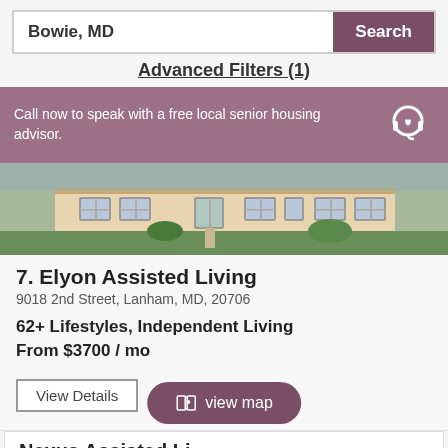Bowie, MD
Search
Advanced Filters (1)
Call now to speak with a free local senior housing advisor.
[Figure (photo): Exterior photo of a single-story residential building with green lawn]
7. Elyon Assisted Living
9018 2nd Street, Lanham, MD, 20706
62+ Lifestyles, Independent Living
From $3700 / mo
View Details
view map